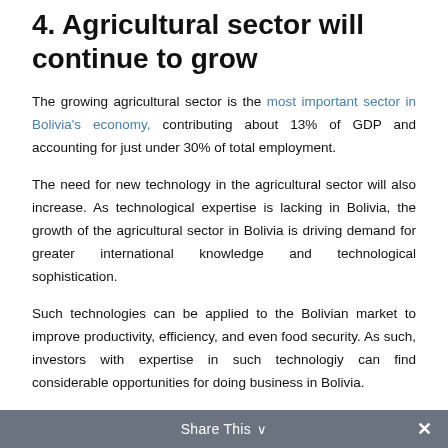4. Agricultural sector will continue to grow
The growing agricultural sector is the most important sector in Bolivia's economy, contributing about 13% of GDP and accounting for just under 30% of total employment.
The need for new technology in the agricultural sector will also increase. As technological expertise is lacking in Bolivia, the growth of the agricultural sector in Bolivia is driving demand for greater international knowledge and technological sophistication.
Such technologies can be applied to the Bolivian market to improve productivity, efficiency, and even food security. As such, investors with expertise in such technologiy can find considerable opportunities for doing business in Bolivia.
Share This ∨  ×